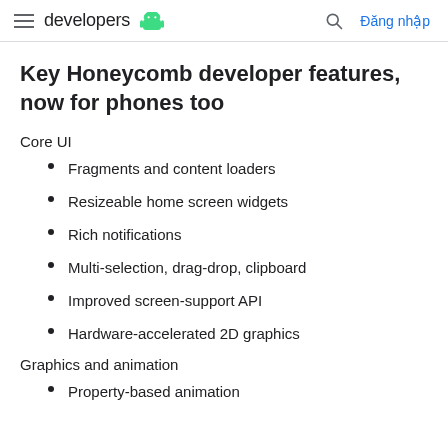developers | Đăng nhập
Key Honeycomb developer features, now for phones too
Core UI
Fragments and content loaders
Resizeable home screen widgets
Rich notifications
Multi-selection, drag-drop, clipboard
Improved screen-support API
Hardware-accelerated 2D graphics
Graphics and animation
Property-based animation